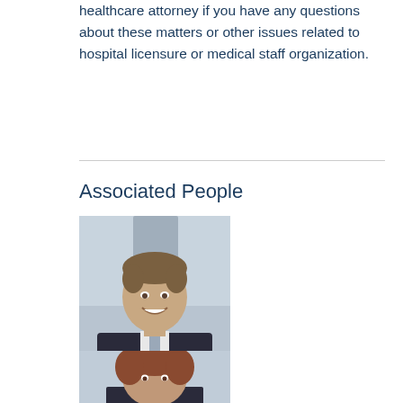healthcare attorney if you have any questions about these matters or other issues related to hospital licensure or medical staff organization.
Associated People
[Figure (photo): Professional headshot of Michael P. Davidson, a man in a dark suit, smiling, with blurred office background]
Michael P. Davidson
[Figure (photo): Professional headshot of a woman with reddish-brown hair, partially visible at bottom of page]